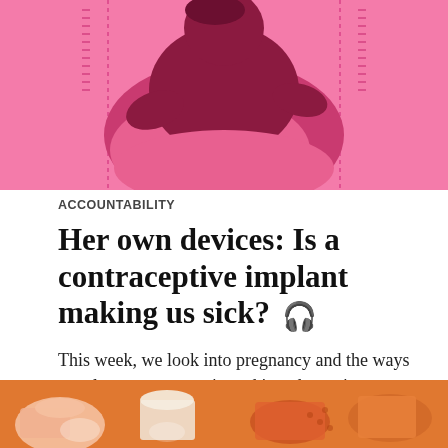[Figure (illustration): Pink/magenta illustration of a seated figure with stitched lines on sides, on a pink background]
ACCOUNTABILITY
Her own devices: Is a contraceptive implant making us sick? 🎧
This week, we look into pregnancy and the ways people try to prevent it, end it and save it.
July 29, 2017
[Figure (illustration): Orange/warm-toned illustration at bottom of page showing abstract figures with cups and objects]